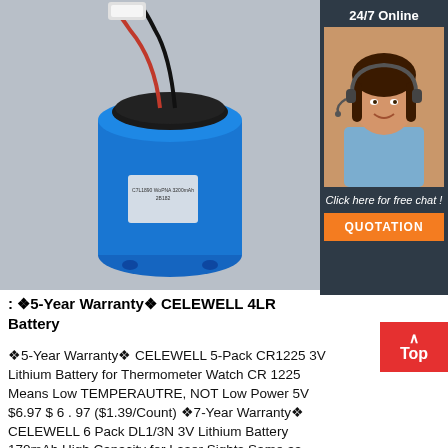[Figure (photo): Blue cylindrical battery with red and black wires and a white connector plug, label on the side, on a gray background]
[Figure (photo): Sidebar showing a customer service representative wearing a headset, smiling, with '24/7 Online' header, 'Click here for free chat!' text, and an orange 'QUOTATION' button]
: ✦5-Year Warranty✦ CELEWELL 4LR Battery
✦5-Year Warranty✦ CELEWELL 5-Pack CR1225 3V Lithium Battery for Thermometer Watch CR 1225 Means Low TEMPERAUTRE, NOT Low Power 5V $6.97 $ 6 . 97 ($1.39/Count) ✦7-Year Warranty✦ CELEWELL 6 Pack DL1/3N 3V Lithium Battery 170mAh High Capacity for Laser Sights Same as